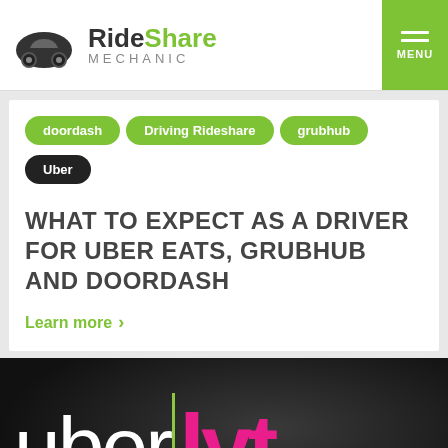RideShare Mechanic
doordash
Driving Rideshare
grubhub
Uber
WHAT TO EXPECT AS A DRIVER FOR UBER EATS, GRUBHUB AND DOORDASH
Learn more >
[Figure (photo): Dark background photo showing Uber and Lyft logos side by side with a vertical green dividing line]
Share: [Facebook] [Twitter] [LinkedIn]